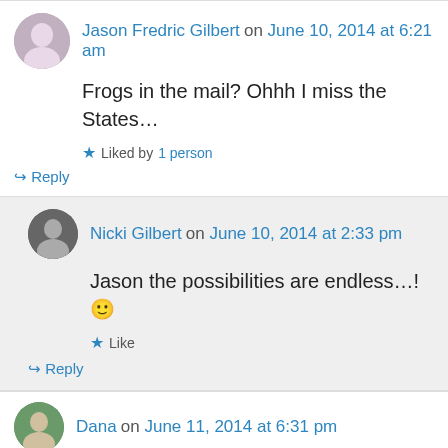Jason Fredric Gilbert on June 10, 2014 at 6:21 am
Frogs in the mail? Ohhh I miss the States…
★ Liked by 1 person
↳ Reply
Nicki Gilbert on June 10, 2014 at 2:33 pm
Jason the possibilities are endless…! 🙂
★ Like
↳ Reply
Dana on June 11, 2014 at 6:31 pm